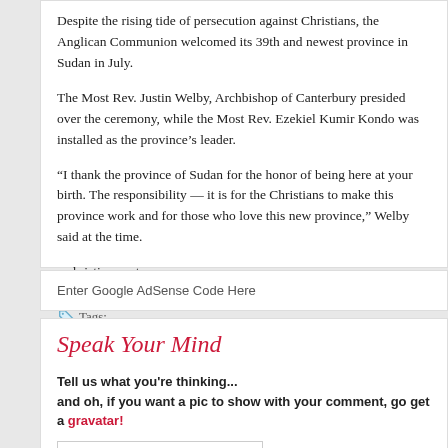Despite the rising tide of persecution against Christians, the Anglican Communion welcomed its 39th and newest province in Sudan in July.
The Most Rev. Justin Welby, Archbishop of Canterbury presided over the ceremony, while the Most Rev. Ezekiel Kumir Kondo was installed as the province's leader.
“I thank the province of Sudan for the honor of being here at your birth. The responsibility — it is for the Christians to make this province work and for those who love this new province,” Welby said at the time.
– christian post
Tags:
Enter Google AdSense Code Here
Speak Your Mind
Tell us what you're thinking...
and oh, if you want a pic to show with your comment, go get a gravatar!
Name (required)